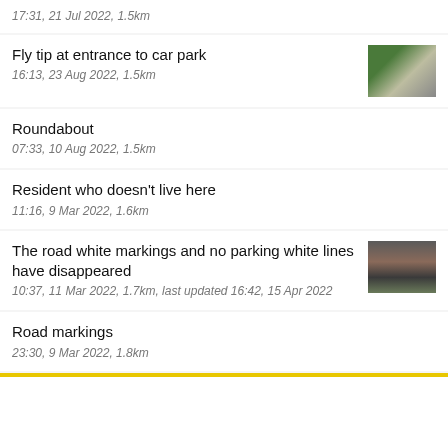17:31, 21 Jul 2022, 1.5km
Fly tip at entrance to car park
16:13, 23 Aug 2022, 1.5km
Roundabout
07:33, 10 Aug 2022, 1.5km
Resident who doesn't live here
11:16, 9 Mar 2022, 1.6km
The road white markings and no parking white lines have disappeared
10:37, 11 Mar 2022, 1.7km, last updated 16:42, 15 Apr 2022
Road markings
23:30, 9 Mar 2022, 1.8km